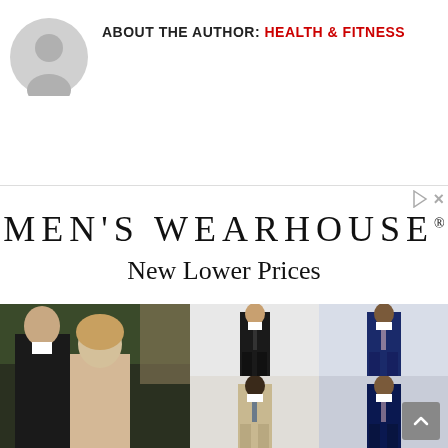ABOUT THE AUTHOR: HEALTH & FITNESS
[Figure (illustration): Gray circular user avatar icon]
[Figure (photo): Men's Wearhouse advertisement showing brand logo 'MEN'S WEARHOUSE' with tagline 'New Lower Prices' and photos of men in suits including a couple at a wedding and male models wearing black and navy suits]